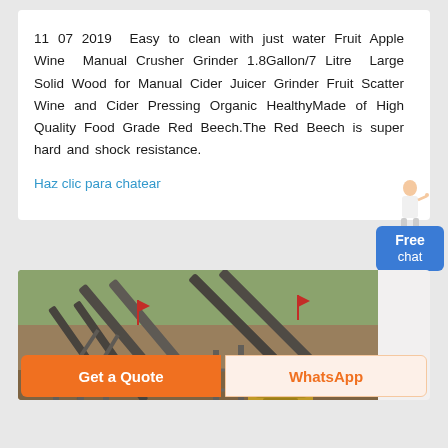11 07 2019  Easy to clean with just water Fruit Apple Wine Manual Crusher Grinder 1.8Gallon/7 Litre Large Solid Wood for Manual Cider Juicer Grinder Fruit Scatter Wine and Cider Pressing Organic HealthyMade of High Quality Food Grade Red Beech.The Red Beech is super hard and shock resistance.
Haz clic para chatear
[Figure (photo): Photo of a mining or quarrying site with industrial crushing/conveying equipment including conveyor belts and a yellow crusher machine, with excavated earth and vegetation in the background.]
Get a Quote
WhatsApp